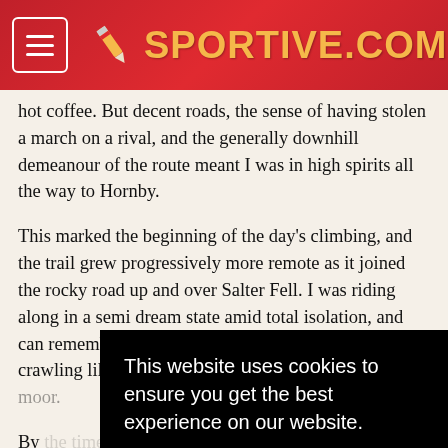SPORTIVE.COM
hot coffee. But decent roads, the sense of having stolen a march on a rival, and the generally downhill demeanour of the route meant I was in high spirits all the way to Hornby.
This marked the beginning of the day's climbing, and the trail grew progressively more remote as it joined the rocky road up and over Salter Fell. I was riding along in a semi dream state amid total isolation, and can remember little of it now other than a sense of crawling like an ant across a wet green tablecloth of the moor.
By [partially obscured] Slaidburn [partially obscured] as [partially obscured] the [partially obscured]
It w[partially obscured] sig[partially obscured] Str[partially obscured] morning sunshine waiting for my coffee to cool, resenting the delay even as I demolished a quiche.
[Figure (screenshot): Cookie consent dialog overlay with black background. Text reads 'This website uses cookies to ensure you get the best experience on our website.' with a 'Learn more' link and a red 'Got it!' button.]